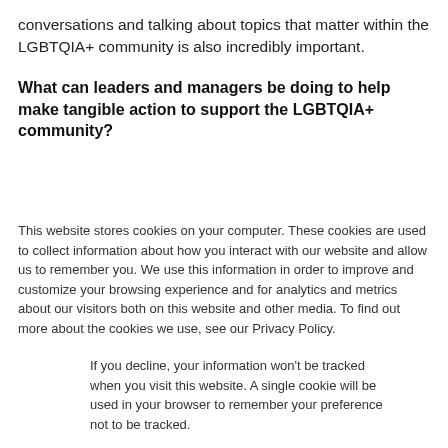conversations and talking about topics that matter within the LGBTQIA+ community is also incredibly important.
What can leaders and managers be doing to help make tangible action to support the LGBTQIA+ community?
This website stores cookies on your computer. These cookies are used to collect information about how you interact with our website and allow us to remember you. We use this information in order to improve and customize your browsing experience and for analytics and metrics about our visitors both on this website and other media. To find out more about the cookies we use, see our Privacy Policy.
If you decline, your information won’t be tracked when you visit this website. A single cookie will be used in your browser to remember your preference not to be tracked.